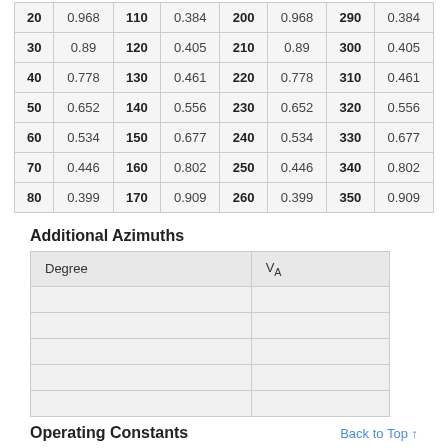| 20 | 0.968 | 110 | 0.384 | 200 | 0.968 | 290 | 0.384 |
| 30 | 0.89 | 120 | 0.405 | 210 | 0.89 | 300 | 0.405 |
| 40 | 0.778 | 130 | 0.461 | 220 | 0.778 | 310 | 0.461 |
| 50 | 0.652 | 140 | 0.556 | 230 | 0.652 | 320 | 0.556 |
| 60 | 0.534 | 150 | 0.677 | 240 | 0.534 | 330 | 0.677 |
| 70 | 0.446 | 160 | 0.802 | 250 | 0.446 | 340 | 0.802 |
| 80 | 0.399 | 170 | 0.909 | 260 | 0.399 | 350 | 0.909 |
Additional Azimuths
| Degree | V_A |
| --- | --- |
|  |  |
|  |  |
|  |  |
|  |  |
|  |  |
Operating Constants
Back to Top ↑